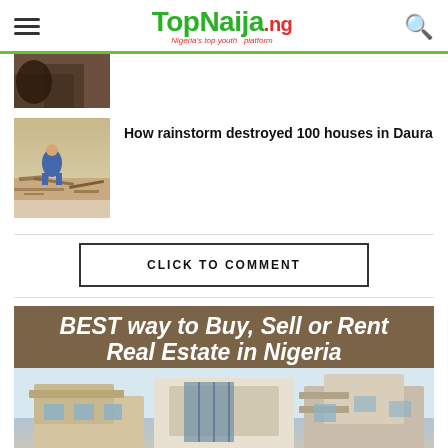TopNaija.ng — Nigeria's top youth platform
[Figure (photo): Small thumbnail image of a dark-toned photo, partially visible at top of page]
[Figure (photo): Thumbnail photo showing person in blue robe amid storm debris and sandy ground]
How rainstorm destroyed 100 houses in Daura
CLICK TO COMMENT
[Figure (infographic): Advertisement banner: BEST way to Buy, Sell or Rent Real Estate in Nigeria, with photo of modern house below]